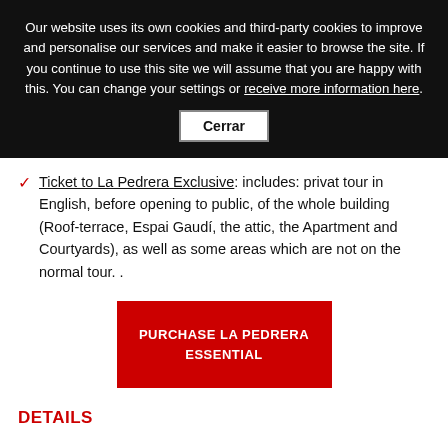Our website uses its own cookies and third-party cookies to improve and personalise our services and make it easier to browse the site. If you continue to use this site we will assume that you are happy with this. You can change your settings or receive more information here.
Cerrar
Ticket to La Pedrera Exclusive: includes: privat tour in English, before opening to public, of the whole building (Roof-terrace, Espai Gaudí, the attic, the Apartment and Courtyards), as well as some areas which are not on the normal tour. .
PURCHASE LA PEDRERA ESSENTIAL
DETAILS